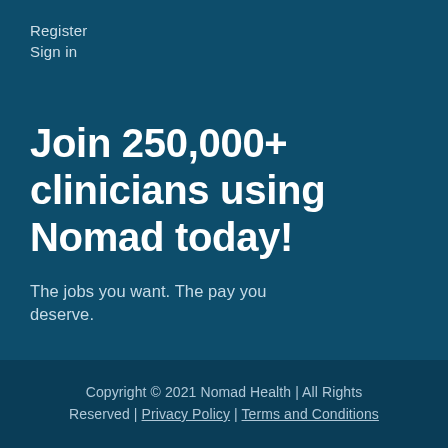Register
Sign in
Join 250,000+ clinicians using Nomad today!
The jobs you want. The pay you deserve.
Copyright © 2021 Nomad Health | All Rights Reserved | Privacy Policy | Terms and Conditions